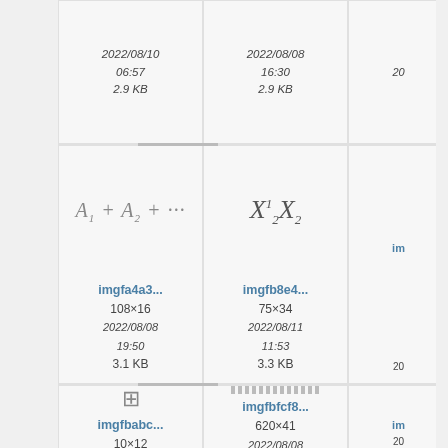2022/08/10 06:57 2.9 KB
2022/08/08 16:30 2.9 KB
[Figure (math-figure): Mathematical formula: A1 + A2 + cdots]
imgfa4a3... 108x16 2022/08/08 19:50 3.1 KB
[Figure (math-figure): Mathematical formula: X superscript 1 subscript 2 times X subscript 2]
imgfb8e4... 75x34 2022/08/11 11:53 3.3 KB
[Figure (other): Plus/cross symbol in box outline]
imgfbabc... 10x12 2022/08/10
[Figure (other): Horizontal dotted line pattern]
imgfbfcf8... 620x41 2022/08/08